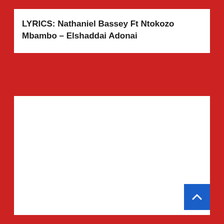LYRICS: Nathaniel Bassey Ft Ntokozo Mbambo – Elshaddai Adonai
[Figure (other): A large white rectangular content area below the title card, bordered by red background. A blue scroll-to-top button with an upward arrow chevron is positioned at the bottom-right corner.]